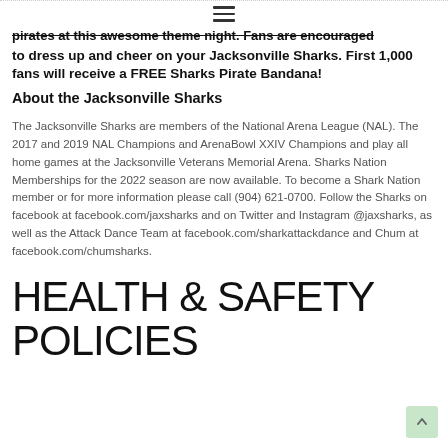pirates at this awesome theme night. Fans are encouraged to dress up and cheer on your Jacksonville Sharks. First 1,000 fans will receive a FREE Sharks Pirate Bandana!
About the Jacksonville Sharks
The Jacksonville Sharks are members of the National Arena League (NAL). The 2017 and 2019 NAL Champions and ArenaBowl XXIV Champions and play all home games at the Jacksonville Veterans Memorial Arena. Sharks Nation Memberships for the 2022 season are now available. To become a Shark Nation member or for more information please call (904) 621-0700. Follow the Sharks on facebook at facebook.com/jaxsharks and on Twitter and Instagram @jaxsharks, as well as the Attack Dance Team at facebook.com/sharkattackdance and Chum at facebook.com/chumsharks.
HEALTH & SAFETY POLICIES